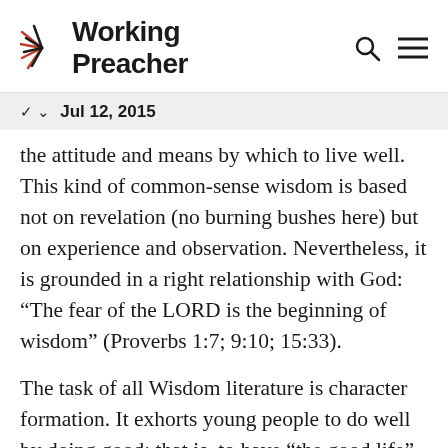Working Preacher
Jul 12, 2015
the attitude and means by which to live well. This kind of common-sense wisdom is based not on revelation (no burning bushes here) but on experience and observation. Nevertheless, it is grounded in a right relationship with God: “The fear of the LORD is the beginning of wisdom” (Proverbs 1:7; 9:10; 15:33).
The task of all Wisdom literature is character formation. It exhorts young people to do well by doing good; that is, to have “the good life” by exhibiting the virtues of the great-souled, godly self.